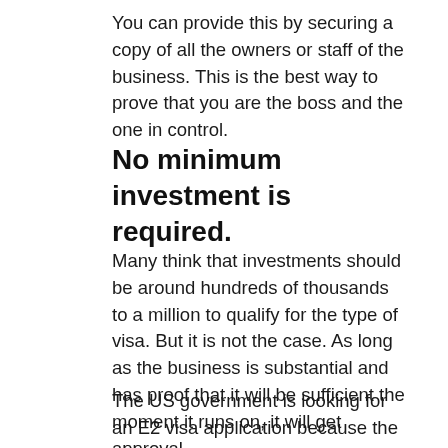You can provide this by securing a copy of all the owners or staff of the business. This is the best way to prove that you are the boss and the one in control.
No minimum investment is required.
Many think that investments should be around hundreds of thousands to a million to qualify for the type of visa. But it is not the case. As long as the business is substantial and has proof that it will be sufficient the moment it runs on, it will get approval.
The US government is looking for an E2 visa application because the business will not have a significant impact on the US economy. This is